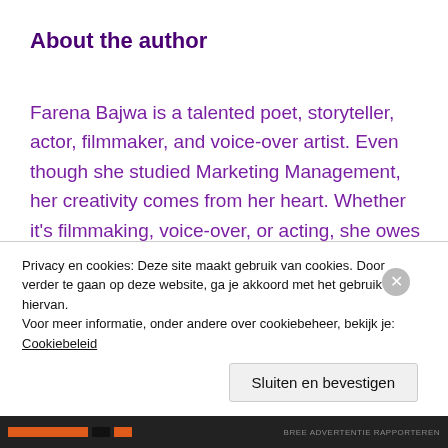About the author
Farena Bajwa is a talented poet, storyteller, actor, filmmaker, and voice-over artist. Even though she studied Marketing Management, her creativity comes from her heart. Whether it's filmmaking, voice-over, or acting, she owes it to her life philosophy: ''learning by doing''. ''Flowers Grow on Broken Walls'' is Farena's first written collection of poetry that speaks about the
Privacy en cookies: Deze site maakt gebruik van cookies. Door verder te gaan op deze website, ga je akkoord met het gebruik hiervan. Voor meer informatie, onder andere over cookiebeheer, bekijk je: Cookiebeleid
Sluiten en bevestigen